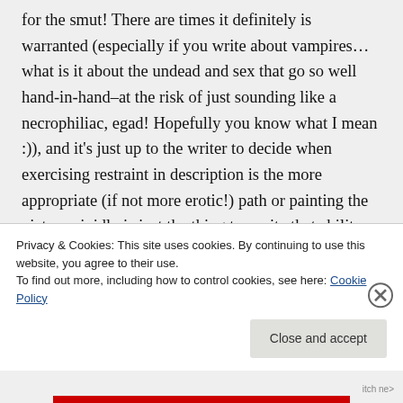for the smut! There are times it definitely is warranted (especially if you write about vampires…what is it about the undead and sex that go so well hand-in-hand–at the risk of just sounding like a necrophiliac, egad! Hopefully you know what I mean :)), and it's just up to the writer to decide when exercising restraint in description is the more appropriate (if not more erotic!) path or painting the picture vividly is just the thing to excite that ability for readers to
Privacy & Cookies: This site uses cookies. By continuing to use this website, you agree to their use.
To find out more, including how to control cookies, see here: Cookie Policy